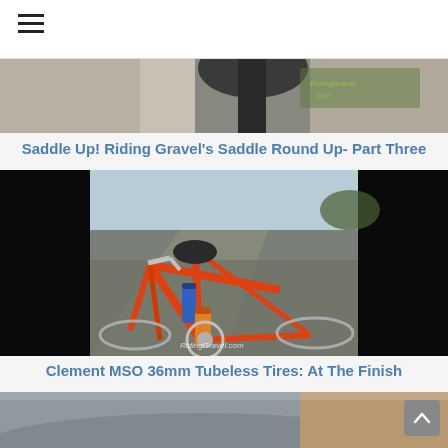[Figure (photo): Partial view of a bicycle saddle, top portion cropped, with gravel/terrain background]
Saddle Up! Riding Gravel's Saddle Round Up- Part Three
[Figure (photo): Orange bicycle lying on its side on a gravel road, with water bottles and gear visible, RidingGravel.com watermark]
Clement MSO 36mm Tubeless Tires: At The Finish
[Figure (photo): Close-up of what appears to be bicycle handlebars or components, partially visible at bottom]